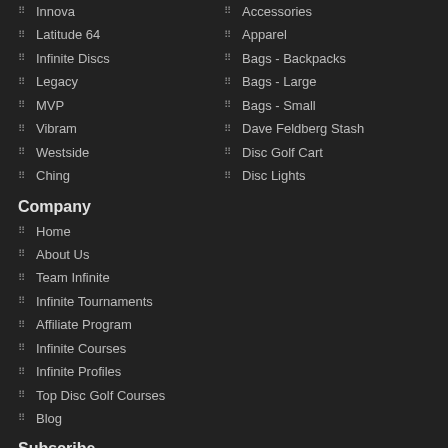Innova
Accessories
Latitude 64
Apparel
Infinite Discs
Bags - Backpacks
Legacy
Bags - Large
MVP
Bags - Small
Vibram
Dave Feldberg Stash
Westside
Disc Golf Cart
Ching
Disc Lights
Company
Home
About Us
Team Infinite
Infinite Tournaments
Affiliate Program
Infinite Courses
Infinite Profiles
Top Disc Golf Courses
Blog
Subscribe
Subscribe to our monthly newsletter for updates on new products and promotions.